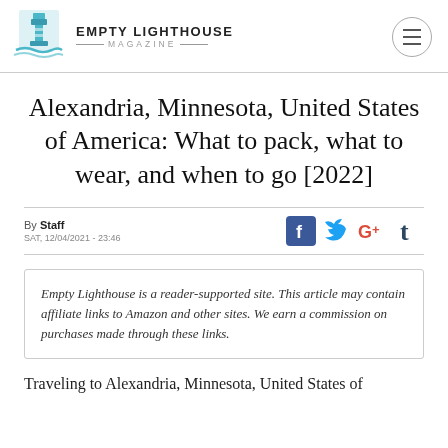Empty Lighthouse Magazine
Alexandria, Minnesota, United States of America: What to pack, what to wear, and when to go [2022]
By Staff
SAT, 12/04/2021 - 23:46
Empty Lighthouse is a reader-supported site. This article may contain affiliate links to Amazon and other sites. We earn a commission on purchases made through these links.
Traveling to Alexandria, Minnesota, United States of America. If you're planning a trip to Alexandria, then